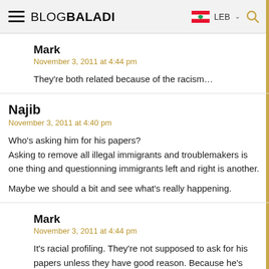BLOGBALADI — LEB
Mark
November 3, 2011 at 4:44 pm
They're both related because of the racism…
Najib
November 3, 2011 at 4:40 pm
Who's asking him for his papers?
Asking to remove all illegal immigrants and troublemakers is one thing and questionning immigrants left and right is another.
Maybe we should a bit and see what's really happening.
Mark
November 3, 2011 at 4:44 pm
It's racial profiling. They're not supposed to ask for his papers unless they have good reason. Because he's black isn't a reason.